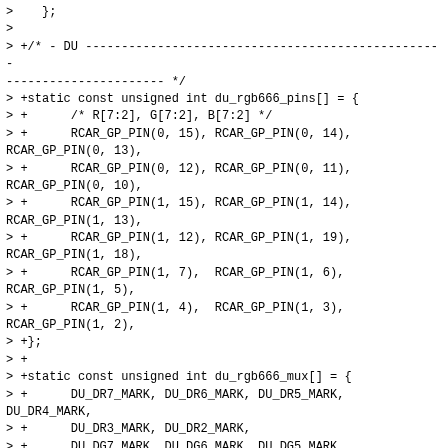>    };
>
> +/* - DU ------------------------------------------------------ */
> +static const unsigned int du_rgb666_pins[] = {
> +      /* R[7:2], G[7:2], B[7:2] */
> +      RCAR_GP_PIN(0, 15), RCAR_GP_PIN(0, 14), RCAR_GP_PIN(0, 13),
> +      RCAR_GP_PIN(0, 12), RCAR_GP_PIN(0, 11), RCAR_GP_PIN(0, 10),
> +      RCAR_GP_PIN(1, 15), RCAR_GP_PIN(1, 14), RCAR_GP_PIN(1, 13),
> +      RCAR_GP_PIN(1, 12), RCAR_GP_PIN(1, 19), RCAR_GP_PIN(1, 18),
> +      RCAR_GP_PIN(1, 7),  RCAR_GP_PIN(1, 6),  RCAR_GP_PIN(1, 5),
> +      RCAR_GP_PIN(1, 4),  RCAR_GP_PIN(1, 3),  RCAR_GP_PIN(1, 2),
> +};
> +
> +static const unsigned int du_rgb666_mux[] = {
> +      DU_DR7_MARK, DU_DR6_MARK, DU_DR5_MARK, DU_DR4_MARK,
> +      DU_DR3_MARK, DU_DR2_MARK,
> +      DU_DG7_MARK, DU_DG6_MARK, DU_DG5_MARK, DU_DG4_MARK,
> +      DU_DG3_MARK, DU_DG2_MARK,
> +      DU_DB7_MARK, DU_DB6_MARK, DU_DB5_MARK, DU_DB4_MARK,
> +      DU_DB3_MARK, DU_DB2_MARK,
> +};